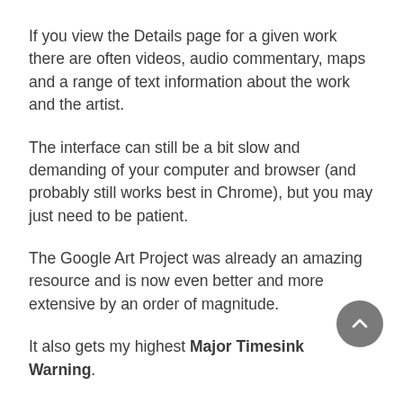If you view the Details page for a given work there are often videos, audio commentary, maps and a range of text information about the work and the artist.
The interface can still be a bit slow and demanding of your computer and browser (and probably still works best in Chrome), but you may just need to be patient.
The Google Art Project was already an amazing resource and is now even better and more extensive by an order of magnitude.
It also gets my highest Major Timesink Warning.
Enjoy!
(Images above: In the Conservatory, Edouard Manet from collection of Nationalgalerie, Staatliche